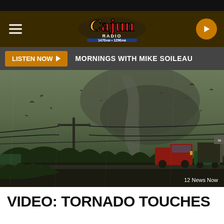[Figure (screenshot): Website screenshot of Cajun Radio station (1470AM 1290AM) mobile app header with hamburger menu, logo, and play button on dark brown background]
LISTEN NOW   MORNINGS WITH MIKE SOILEAU
[Figure (photo): Tornado weather video screenshot showing tornado touching down near a road with power lines, debris flying, a red truck and buildings visible, dark stormy sky. Credit: 12 News Now]
VIDEO: TORNADO TOUCHES